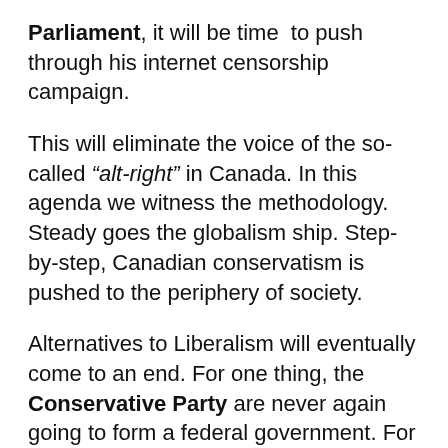Parliament, it will be time to push through his internet censorship campaign.
This will eliminate the voice of the so-called “alt-right” in Canada. In this agenda we witness the methodology. Steady goes the globalism ship. Step-by-step, Canadian conservatism is pushed to the periphery of society.
Alternatives to Liberalism will eventually come to an end. For one thing, the Conservative Party are never again going to form a federal government. For migrants from communist nations who may be reading this, CAP bet dollars to Tim Horton’s donuts you are picking up on “the vibe.”